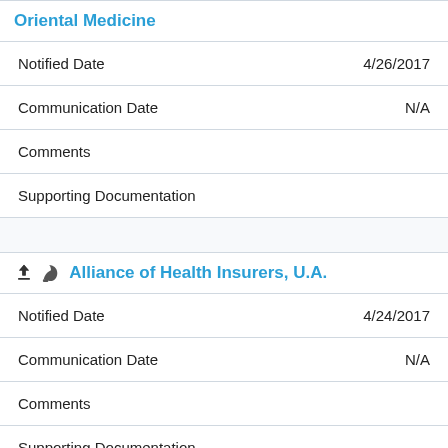Oriental Medicine
| Notified Date | 4/26/2017 |
| Communication Date | N/A |
| Comments |  |
| Supporting Documentation |  |
Alliance of Health Insurers, U.A.
| Notified Date | 4/24/2017 |
| Communication Date | N/A |
| Comments |  |
| Supporting Documentation |  |
American Heart Association (partial)